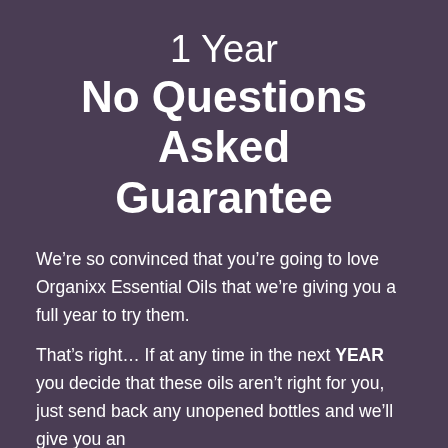1 Year No Questions Asked Guarantee
We’re so convinced that you’re going to love Organixx Essential Oils that we’re giving you a full year to try them.
That’s right… If at any time in the next YEAR you decide that these oils aren’t right for you, just send back any unopened bottles and we’ll give you an